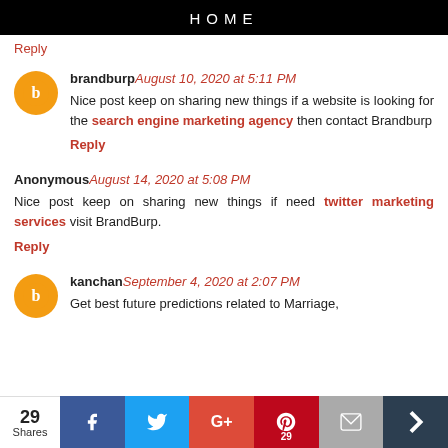HOME
Reply
brandburp August 10, 2020 at 5:11 PM
Nice post keep on sharing new things if a website is looking for the search engine marketing agency then contact Brandburp
Reply
Anonymous August 14, 2020 at 5:08 PM
Nice post keep on sharing new things if need twitter marketing services visit BrandBurp.
Reply
kanchan September 4, 2020 at 2:07 PM
Get best future predictions related to Marriage,
29 Shares